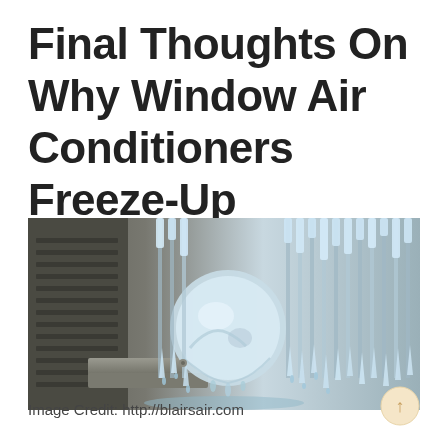Final Thoughts On Why Window Air Conditioners Freeze-Up
[Figure (photo): Close-up photograph of a frozen window air conditioner unit with heavy ice buildup on the coils, fins, and fan blade, with icicles and water dripping down. Metallic components covered in ice and frost.]
Image Credit: http://blairsair.com